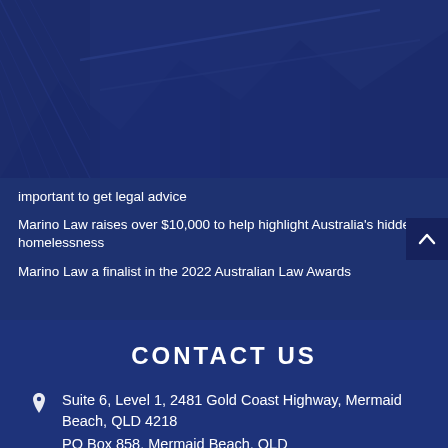[Figure (photo): Background photo of building exterior with dark blue overlay, showing architectural structure with fencing and angled rooflines]
important to get legal advice
Marino Law raises over $10,000 to help highlight Australia's hidden homelessness
Marino Law a finalist in the 2022 Australian Law Awards
CONTACT US
Suite 6, Level 1, 2481 Gold Coast Highway, Mermaid Beach, QLD 4218
PO Box 858, Mermaid Beach, QLD...